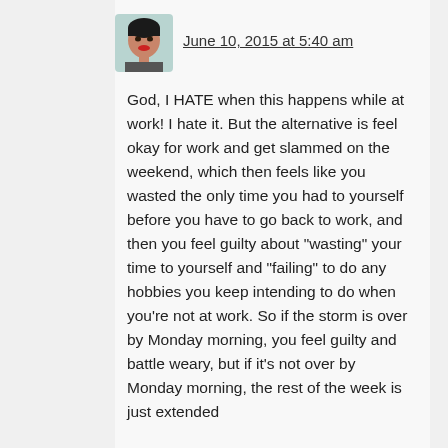[Figure (photo): Small avatar photo of a young woman with red lipstick]
June 10, 2015 at 5:40 am
God, I HATE when this happens while at work! I hate it. But the alternative is feel okay for work and get slammed on the weekend, which then feels like you wasted the only time you had to yourself before you have to go back to work, and then you feel guilty about "wasting" your time to yourself and "failing" to do any hobbies you keep intending to do when you're not at work. So if the storm is over by Monday morning, you feel guilty and battle weary, but if it's not over by Monday morning, the rest of the week is just extended